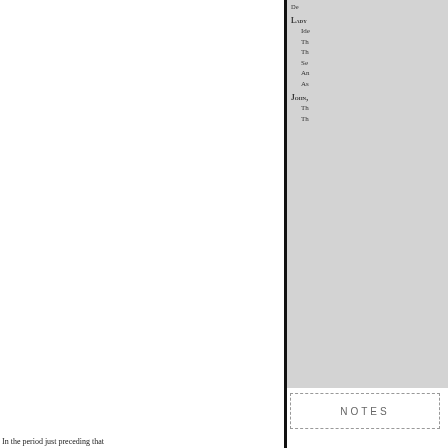De
Lady
  Ide
  Th
  Th
  Se
  An
  As
John,
  Th
  Th
NOTES
In the period just preceding that and disordered phase. In spite of consummate perfection in style, accepted standard of diction. The sources ; they had kept alive the had added the polished deftness- metaphor and quaint antithesis. T had need of the ease and leisure seventeenth century advanced, m corresponding involution of styl prose laboured, earnest, and ever